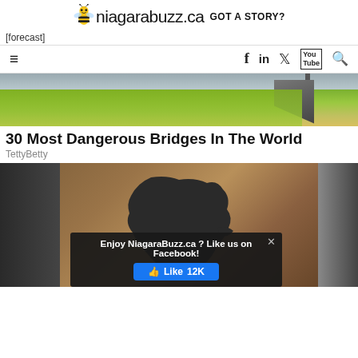[Figure (logo): NiagaraBuzz.ca logo with bee icon and 'GOT A STORY?' text]
[forecast]
[Figure (screenshot): Navigation bar with hamburger menu, Facebook, LinkedIn, Twitter, YouTube, and Search icons]
[Figure (photo): Hero image showing a bridge with trees and structure in the background]
30 Most Dangerous Bridges In The World
TettyBetty
[Figure (photo): Photo of a wooden board with Africa map silhouette, with clothes racks visible on sides. Popup overlay reads: Enjoy NiagaraBuzz.ca ? Like us on Facebook! with a Like 12K button]